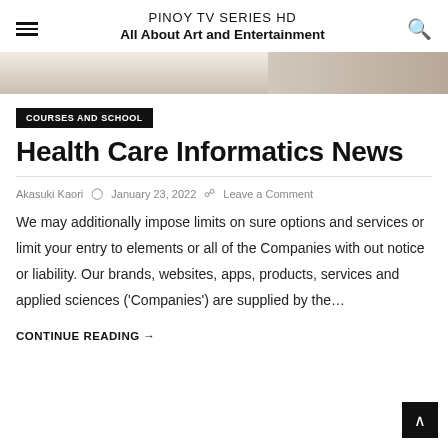PINOY TV SERIES HD — All About Art and Entertainment
[Figure (photo): Partial top portion of a lifestyle/education photo showing a light-colored desk scene with ropes or braided items]
COURSES AND SCHOOL
Health Care Informatics News
Akasuki Kaori  🕐 January 23, 2022  💬 Leave a Comment
We may additionally impose limits on sure options and services or limit your entry to elements or all of the Companies with out notice or liability. Our brands, websites, apps, products, services and applied sciences ('Companies') are supplied by the…
CONTINUE READING →